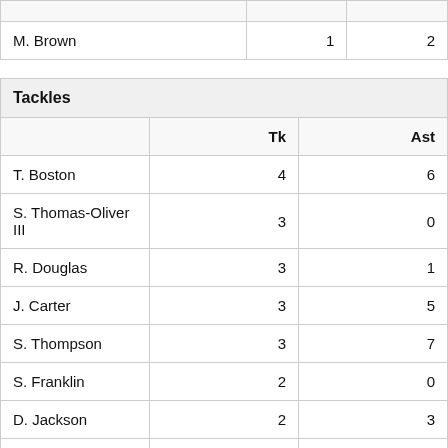|  | Tk | Ast |
| --- | --- | --- |
| M. Brown | 1 | 2 |
| Tackles | Tk | Ast |
| --- | --- | --- |
| T. Boston | 4 | 6 |
| S. Thomas-Oliver III | 3 | 0 |
| R. Douglas | 3 | 1 |
| J. Carter | 3 | 5 |
| S. Thompson | 3 | 7 |
| S. Franklin | 2 | 0 |
| D. Jackson | 2 | 3 |
| M. Haynes | 1 | 0 |
| E. Obada | 1 | 0 |
| M. Hartsfield | 1 | 1 |
| A. Jenkins | 1 | 1 |